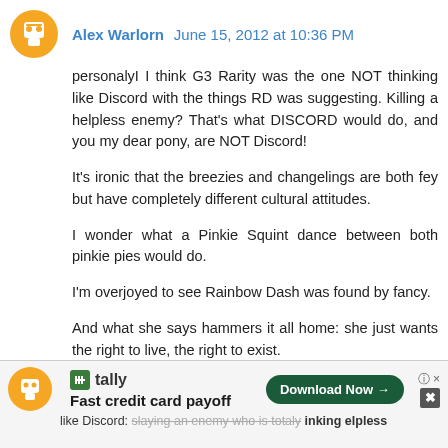Alex Warlorn  June 15, 2012 at 10:36 PM
personalyI I think G3 Rarity was the one NOT thinking like Discord with the things RD was suggesting. Killing a helpless enemy? That's what DISCORD would do, and you my dear pony, are NOT Discord!

It's ironic that the breezies and changelings are both fey but have completely different cultural attitudes.

I wonder what a Pinkie Squint dance between both pinkie pies would do.

I'm overjoyed to see Rainbow Dash was found by fancy.

And what she says hammers it all home: she just wants the right to live, the right to exist.
Reply
[Figure (infographic): Advertisement bar: Tally - Fast credit card payoff with Download Now button, overlaid on partially visible comment below]